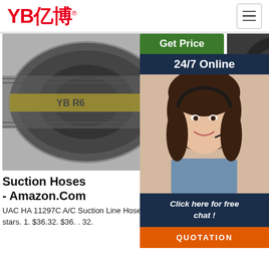[Figure (logo): YB亿博 logo in red with registered trademark symbol]
[Figure (screenshot): Website screenshot showing Get Price button, 24/7 Online bar, customer agent photo, Click here for free chat, QUOTATION button overlay panel]
[Figure (photo): Industrial suction hose with yellow YB R6 label]
Suction Hoses - Amazon.Com
UAC HA 11297C A/C Suction Line Hose Assembly. 4.0 out of 5 stars. 1. $36.32. $36. . 32.
[Figure (photo): Black A/C suction hose being held, coiled hoses in background]
A/C Suction Hose
The suction hose is a low-pressure line in your A/C system. It's made of a special rubber and
Air Conditioning Hoses And Fittings Tubes International
[Figure (photo): Partial view of air conditioning hose product]